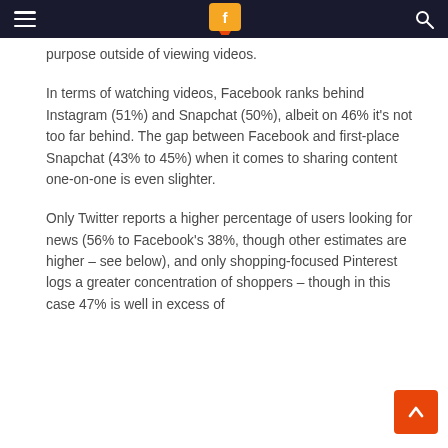purpose outside of viewing videos.
In terms of watching videos, Facebook ranks behind Instagram (51%) and Snapchat (50%), albeit on 46% it’s not too far behind. The gap between Facebook and first-place Snapchat (43% to 45%) when it comes to sharing content one-on-one is even slighter.
Only Twitter reports a higher percentage of users looking for news (56% to Facebook’s 38%, though other estimates are higher – see below), and only shopping-focused Pinterest logs a greater concentration of shoppers – though in this case 47% is well in excess of